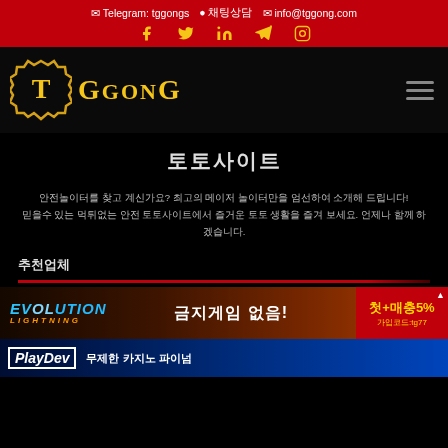Telegram: tggongs  채팅상담  info@tggong.com
[Figure (logo): TGgonG logo with golden badge and text on black background]
토토사이트
안전놀이터를 찾고 계신가요? 최고의 메이저 놀이터만을 엄선하여 소개해 드립니다!
믿을수 있는 먹튀없는 안전 토토사이트에서 즐거운 토토 생활을 즐겨 보세요. 언제나 함께 하겠습니다.
추천업체
[Figure (screenshot): Evolution Lightning casino banner with Korean text 금지게임 없음! and 첫+매충5% promotion]
[Figure (screenshot): Blue casino banner with Korean text 문제한 카지노 파이넘]